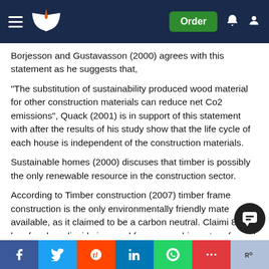Navigation bar with logo and Order button
Borjesson and Gustavasson (2000) agrees with this statement as he suggests that,
“The substitution of sustainability produced wood material for other construction materials can reduce net Co2 emissions”, Quack (2001) is in support of this statement with after the results of his study show that the life cycle of each house is independent of the construction materials.
Sustainable homes (2000) discuses that timber is possibly the only renewable resource in the construction sector.
According to Timber construction (2007) timber frame construction is the only environmentally friendly mate… available, as it claimed to be a carbon neutral. Claimi… 800 kg of carbon dioxide is saved for every cubic meter of wood used… … 2 timber f… … total of 4 t… f… d…